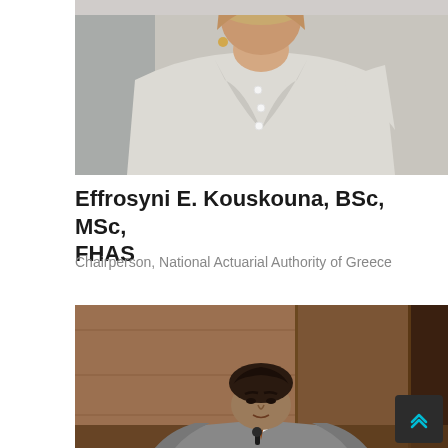[Figure (photo): Portrait photo of a woman in a white jacket/blazer, in front of a light background]
Effrosyni E. Kouskouna, BSc, MSc, FHAS
Chairperson, National Actuarial Authority of Greece
[Figure (photo): Photo of a man in a grey suit sitting at a conference table with a microphone, in front of wooden paneled background]